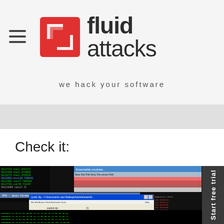fluid attacks — we hack your software
Check it:
[Figure (screenshot): Screenshot of a debugger/disassembler interface (OllyDbg) showing CPU main thread for QuickZip module, with memory addresses in green on black, an 'Executable modules' window, a Quick Zip file browser window showing exploit.zip file, and a Registers (FPU) panel on the right with red register values.]